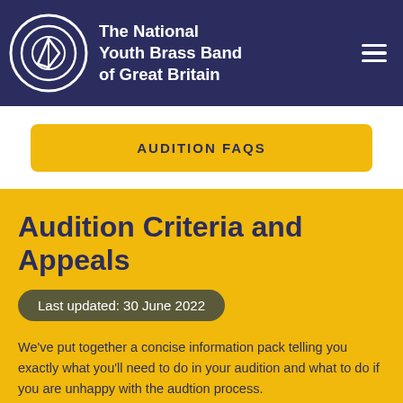The National Youth Brass Band of Great Britain
AUDITION FAQS
Audition Criteria and Appeals
Last updated: 30 June 2022
We've put together a concise information pack telling you exactly what you'll need to do in your audition and what to do if you are unhappy with the audtion process.